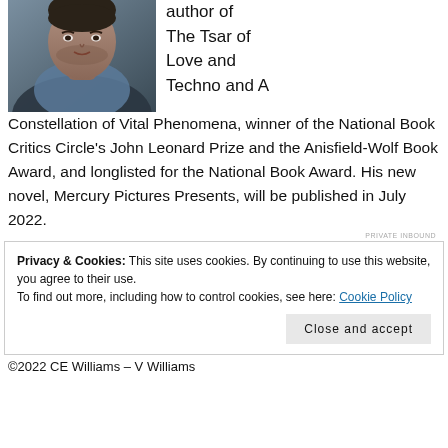[Figure (photo): Black and white photo of a man in a collared shirt, cropped to show face and upper torso]
author of The Tsar of Love and Techno and A Constellation of Vital Phenomena, winner of the National Book Critics Circle's John Leonard Prize and the Anisfield-Wolf Book Award, and longlisted for the National Book Award. His new novel, Mercury Pictures Presents, will be published in July 2022.
Privacy & Cookies: This site uses cookies. By continuing to use this website, you agree to their use.
To find out more, including how to control cookies, see here: Cookie Policy
©2022 CE Williams – V Williams